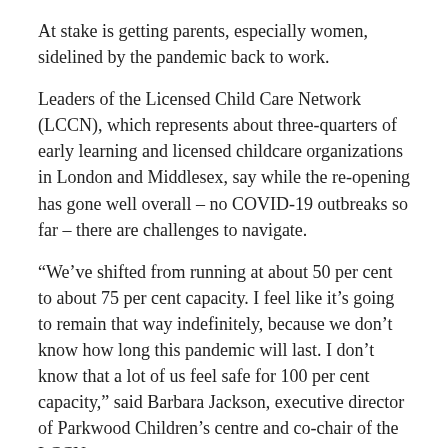At stake is getting parents, especially women, sidelined by the pandemic back to work.
Leaders of the Licensed Child Care Network (LCCN), which represents about three-quarters of early learning and licensed childcare organizations in London and Middlesex, say while the re-opening has gone well overall – no COVID-19 outbreaks so far – there are challenges to navigate.
“We’ve shifted from running at about 50 per cent to about 75 per cent capacity. I feel like it’s going to remain that way indefinitely, because we don’t know how long this pandemic will last. I don’t know that a lot of us feel safe for 100 per cent capacity,” said Barbara Jackson, executive director of Parkwood Children’s centre and co-chair of the LCCN.
Running a childcare centre in a pandemic means screening families, kids and staff every single morning.